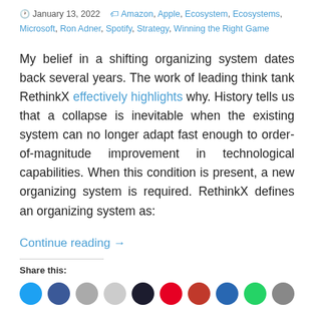January 13, 2022   Amazon, Apple, Ecosystem, Ecosystems, Microsoft, Ron Adner, Spotify, Strategy, Winning the Right Game
My belief in a shifting organizing system dates back several years. The work of leading think tank RethinkX effectively highlights why. History tells us that a collapse is inevitable when the existing system can no longer adapt fast enough to order-of-magnitude improvement in technological capabilities. When this condition is present, a new organizing system is required. RethinkX defines an organizing system as:
Continue reading →
Share this: